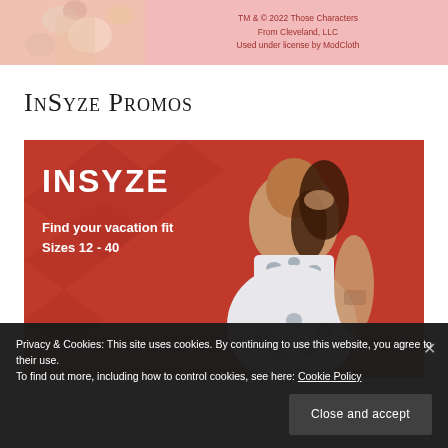[Figure (photo): Top banner with floral fashion image and ModCloth license text on pink background]
TM & © 2022 Those Characters From Cleveland, LLC Used under license by ModCloth
InSyze Promos
[Figure (photo): INSYZE promotional banner on red background with model wearing white floral two-piece outfit. Text: INSYZE, Find your vacation fit, Sizes 12 - 40]
Privacy & Cookies: This site uses cookies. By continuing to use this website, you agree to their use. To find out more, including how to control cookies, see here: Cookie Policy
Close and accept